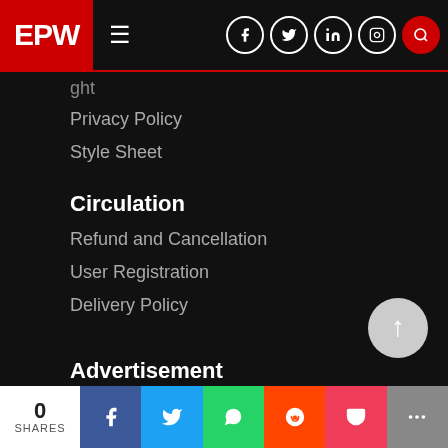EPW navigation bar with logo, hamburger menu, and social/search icons
ght (partial, cut off)
Privacy Policy
Style Sheet
Circulation
Refund and Cancellation
User Registration
Delivery Policy
Advertisement
Why Advertise in EPW?
0 SHARES | Facebook | Twitter | WhatsApp | Reddit | Pocket | More